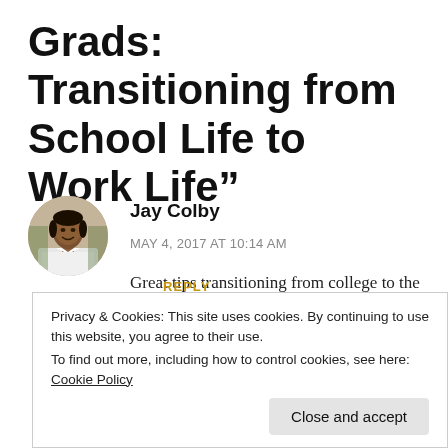Grads: Transitioning from School Life to Work Life”
[Figure (photo): Circular avatar photo of Jay Colby, a young Black man in a white shirt and tie, smiling]
Jay Colby
MAY 4, 2017 AT 10:14 AM
Great tips transitioning from college to the workforce can be difficult. What’s been your
REPLY
Privacy & Cookies: This site uses cookies. By continuing to use this website, you agree to their use.
To find out more, including how to control cookies, see here: Cookie Policy
Close and accept